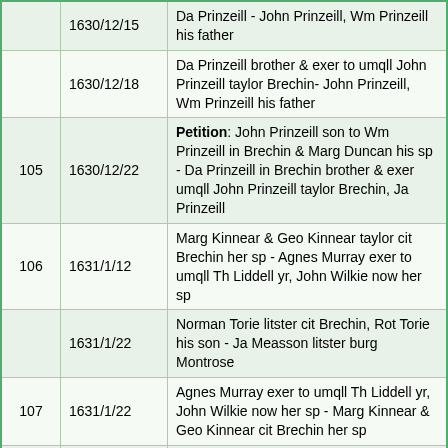|  | Date | Description |
| --- | --- | --- |
|  | 1630/12/15 | Da Prinzeill - John Prinzeill, Wm Prinzeill his father |
|  | 1630/12/18 | Da Prinzeill brother & exer to umqll John Prinzeill taylor Brechin- John Prinzeill, Wm Prinzeill his father |
| 105 | 1630/12/22 | Petition: John Prinzeill son to Wm Prinzeill in Brechin & Marg Duncan his sp - Da Prinzeill in Brechin brother & exer umqll John Prinzeill taylor Brechin, Ja Prinzeill |
| 106 | 1631/1/12 | Marg Kinnear & Geo Kinnear taylor cit Brechin her sp - Agnes Murray exer to umqll Th Liddell yr, John Wilkie now her sp |
|  | 1631/1/22 | Norman Torie litster cit Brechin, Rot Torie his son - Ja Measson litster burg Montrose |
| 107 | 1631/1/22 | Agnes Murray exer to umqll Th Liddell yr, John Wilkie now her sp - Marg Kinnear & Geo Kinnear cit Brechin her sp |
|  |  | Fn...(partially visible) |